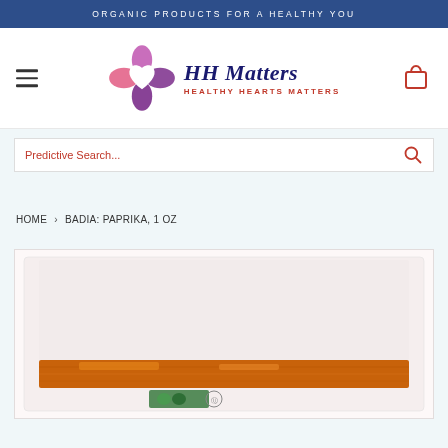ORGANIC PRODUCTS FOR A HEALTHY YOU
[Figure (logo): HH Matters logo with heart-cross symbol in pink/purple gradient, brand name 'HH Matters' in navy, tagline 'HEALTHY HEARTS MATTERS' in red]
Predictive Search...
HOME  BADIA: PAPRIKA, 1 OZ
[Figure (photo): Product photo of Badia Paprika 1 oz in a clear resealable bag with orange/red paprika spice visible as a horizontal stripe, with green leaf certification logo at bottom]